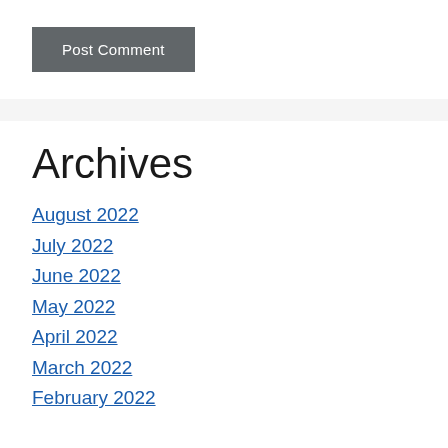Post Comment
Archives
August 2022
July 2022
June 2022
May 2022
April 2022
March 2022
February 2022